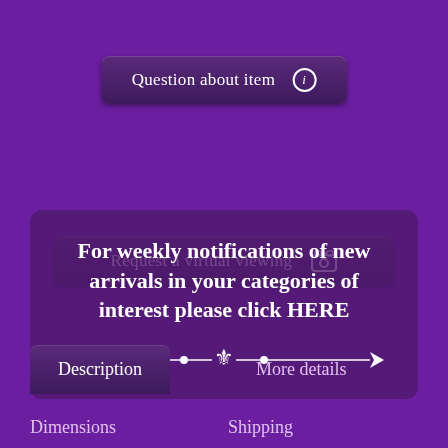[Figure (screenshot): Button: 'Question about item' with info icon]
[Figure (screenshot): Button: 'Request a virtual viewing' with camera icon]
For weekly notifications of new arrivals in your categories of interest please click HERE
Description
More details
Dimensions
Shipping